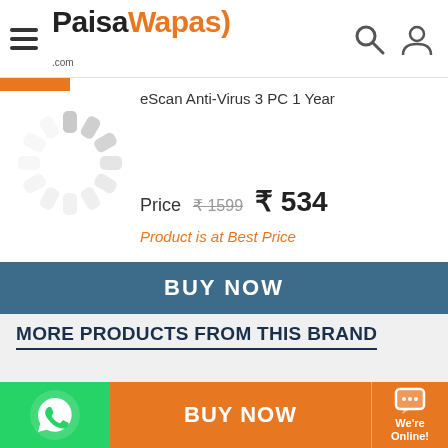PaisaWapas.com
eScan Anti-Virus 3 PC 1 Year
Price  ₹1599  ₹534
Product is at Best Price
BUY NOW
MORE PRODUCTS FROM THIS BRAND
Paisawapas.com as top cash back & Coupons website
BUY NOW
We're Online!